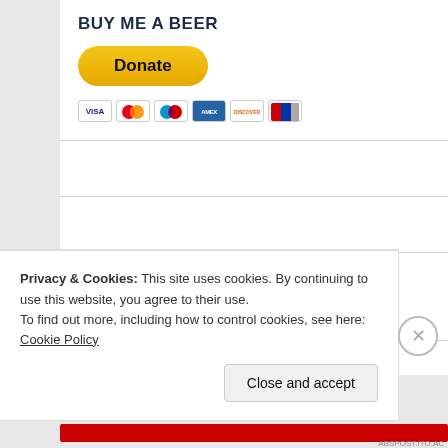BUY ME A BEER
[Figure (other): PayPal Donate button with credit card icons (Visa, Mastercard, Maestro, American Express, Discover, UnionPay)]
[Figure (other): Search input box with placeholder text 'Search ...']
RECENT POSTS
Privacy & Cookies: This site uses cookies. By continuing to use this website, you agree to their use.
To find out more, including how to control cookies, see here: Cookie Policy
Close and accept